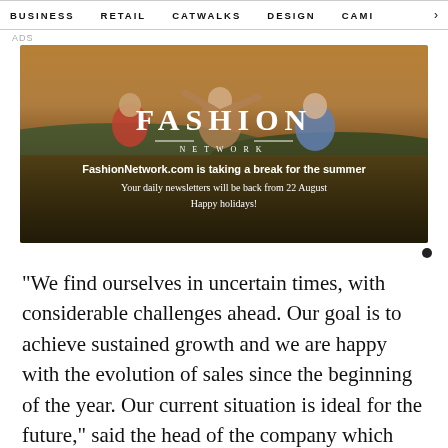BUSINESS   RETAIL   CATWALKS   DESIGN   CAMI >
ADS
[Figure (photo): Fashion Network banner advertisement showing three young women in a field at sunset with the text: FASHION NETWORK. FashionNetwork.com is taking a break for the summer. Your daily newsletters will be back from 22 August. Happy holidays!]
"We find ourselves in uncertain times, with considerable challenges ahead. Our goal is to achieve sustained growth and we are happy with the evolution of sales since the beginning of the year. Our current situation is ideal for the future," said the head of the company which closed the 2021 financial year with a turnover of 2.2